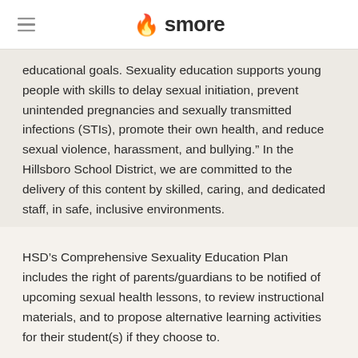smore
educational goals. Sexuality education supports young people with skills to delay sexual initiation, prevent unintended pregnancies and sexually transmitted infections (STIs), promote their own health, and reduce sexual violence, harassment, and bullying.” In the Hillsboro School District, we are committed to the delivery of this content by skilled, caring, and dedicated staff, in safe, inclusive environments.
HSD’s Comprehensive Sexuality Education Plan includes the right of parents/guardians to be notified of upcoming sexual health lessons, to review instructional materials, and to propose alternative learning activities for their student(s) if they choose to.
Our CSE lessons will begin mid-March at Patterson. We are currently finalizing dates and times for each class and